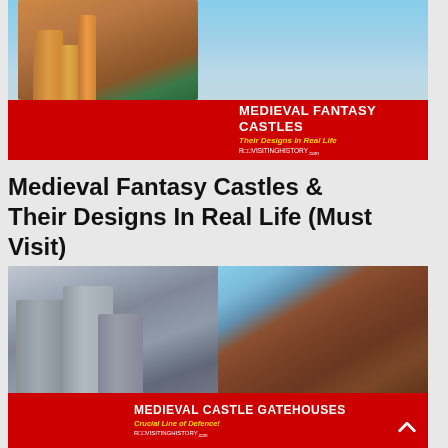[Figure (photo): Banner image of a medieval fantasy castle (Neuschwanstein-style) with red overlay bar reading 'MEDIEVAL FANTASY CASTLES - Their Designs In Real Life' and revisitinghistory.com logo]
Medieval Fantasy Castles & Their Designs In Real Life (Must Visit)
[Figure (photo): Banner image showing two castle photos side by side: left shows grey stone round towers (Skenfrith Castle style), right shows red brick gatehouse ruins. Red overlay bar reads 'MEDIEVAL CASTLE GATEHOUSES - Crucial Line of Defence!' with revisitinghistory.com logo. Red scroll-to-top button in bottom right corner.]